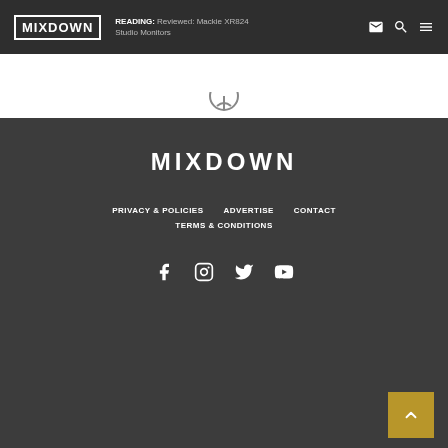MIXDOWN | READING: Reviewed: Mackie XR824 Studio Monitors
[Figure (other): Partial circular share/action icon at top of white strip area]
MIXDOWN
PRIVACY & POLICIES
ADVERTISE
CONTACT
TERMS & CONDITIONS
[Figure (other): Social media icons: Facebook, Instagram, Twitter, YouTube]
[Figure (other): Back to top button (gold/amber square with upward chevron)]